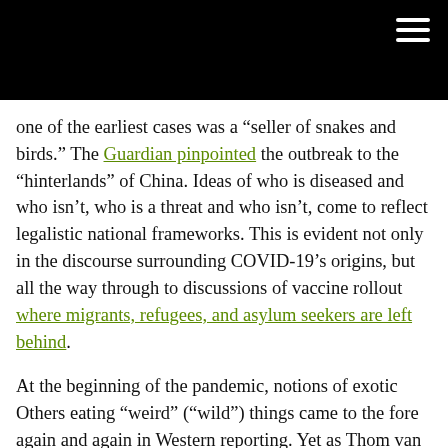[Black header bar with menu icon]
one of the earliest cases was a “seller of snakes and birds.” The Guardian pinpointed the outbreak to the “hinterlands” of China. Ideas of who is diseased and who isn’t, who is a threat and who isn’t, come to reflect legalistic national frameworks. This is evident not only in the discourse surrounding COVID-19’s origins, but all the way through to discussions of vaccine rollout where migrants, refugees, and asylum seekers are left behind.
At the beginning of the pandemic, notions of exotic Others eating “weird” (“wild”) things came to the fore again and again in Western reporting. Yet as Thom van Dooren argues, what could be “weirder” than feeding cows to other cows? This was a practice common in the UK until repeated outbreaks of “mad cow disease” in the 1980s and 1990s, a fatal degenerative brain disorder linked directly to consuming the meat of cows affected by this practice. Indeed, though intensively farmed environments might be thought to be the opposite of “wild” ones, even farms